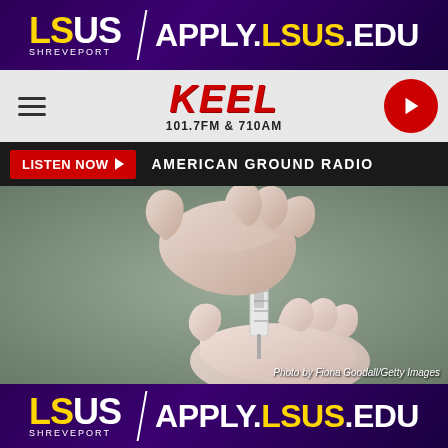[Figure (logo): LSUS Shreveport top banner advertisement with text APPLY.LSUS.EDU on purple background]
[Figure (logo): KEEL 101.7FM & 710AM radio station logo on grey navigation bar with hamburger menu and red play button]
LISTEN NOW ▶   AMERICAN GROUND RADIO
[Figure (photo): Gloved hands holding a vaccine vial and syringe. Photo credit: Photo by Fiona Goodall/Getty Images]
Photo by Fiona Goodall/Getty Images
[Figure (logo): LSUS Shreveport bottom banner advertisement with text APPLY.LSUS.EDU on purple background]